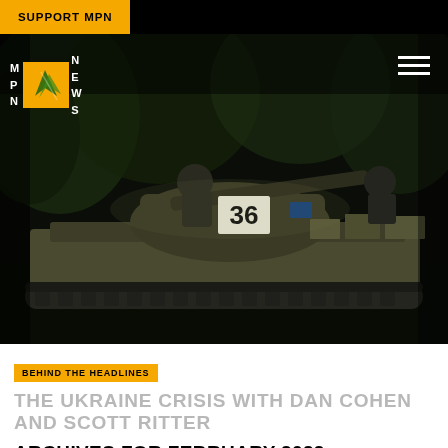SUPPORT MPN
[Figure (photo): A military tank numbered 36 in a dark forested setting with soldiers on top, dramatic low-light photography]
BEHIND THE HEADLINES
THE UKRAINE CRISIS WITH DAN COHEN AND SCOTT RITTER
ARCHIVES FOR FEBRUARY 2022